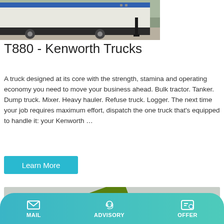[Figure (photo): Partial view of a Kenworth T880 truck — white and blue cab with black undercarriage, gravel ground, parked outdoors]
T880 - Kenworth Trucks
A truck designed at its core with the strength, stamina and operating economy you need to move your business ahead. Bulk tractor. Tanker. Dump truck. Mixer. Heavy hauler. Refuse truck. Logger. The next time your job requires maximum effort, dispatch the one truck that's equipped to handle it: your Kenworth …
[Figure (screenshot): Learn More button — cyan/blue rectangular button with white text]
[Figure (photo): Partial view of a green Kenworth truck with hood open, showing engine, photographed outdoors]
MAIL   ADVISORY   OFFER